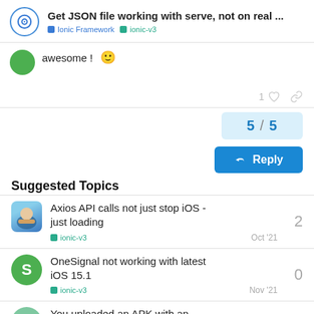Get JSON file working with serve, not on real ... | Ionic Framework | ionic-v3
awesome ! 🙂
1 ♡ 🔗
5 / 5
↩ Reply
Suggested Topics
Axios API calls not just stop iOS - just loading
ionic-v3  Oct '21  2
OneSignal not working with latest iOS 15.1
ionic-v3  Nov '21  0
You uploaded an APK with an...